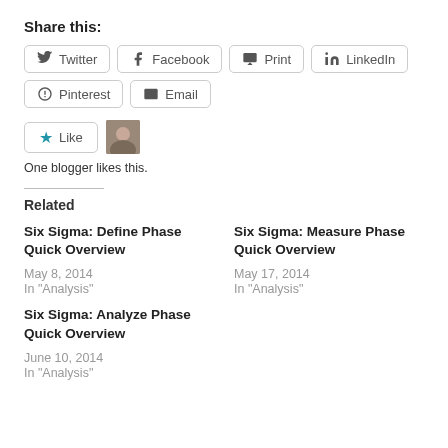Share this:
Twitter  Facebook  Print  LinkedIn  Pinterest  Email
[Figure (other): Like button with star icon and blogger avatar thumbnail]
One blogger likes this.
Related
Six Sigma: Define Phase Quick Overview
May 8, 2014
In "Analysis"
Six Sigma: Measure Phase Quick Overview
May 17, 2014
In "Analysis"
Six Sigma: Analyze Phase Quick Overview
June 10, 2014
In "Analysis"